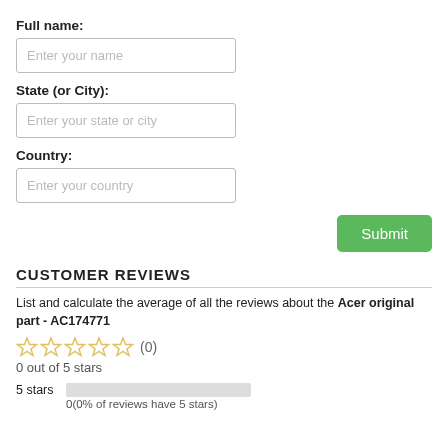Full name:
Enter your name
State (or City):
Enter your state or city
Country:
Enter your country
Submit
CUSTOMER REVIEWS
List and calculate the average of all the reviews about the Acer original part - AC174771
0 out of 5 stars
5 stars
0(0% of reviews have 5 stars)